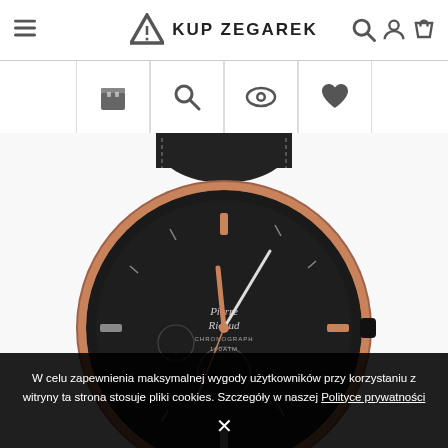KUP ZEGAREK
[Figure (screenshot): E-commerce product page showing a Pierre Ricaud chronograph watch with black dial, rose gold accents, and black leather strap, on a white background. Toolbar icons (cart, search, eye, heart) are visible above the watch image.]
W celu zapewnienia maksymalnej wygody użytkowników przy korzystaniu z witryny ta strona stosuje pliki cookies. Szczegóły w naszej Polityce prywatności ✕